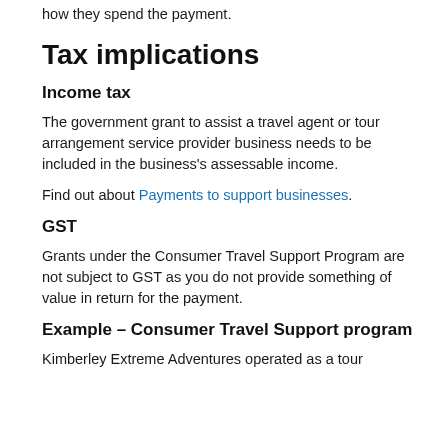how they spend the payment.
Tax implications
Income tax
The government grant to assist a travel agent or tour arrangement service provider business needs to be included in the business's assessable income.
Find out about Payments to support businesses.
GST
Grants under the Consumer Travel Support Program are not subject to GST as you do not provide something of value in return for the payment.
Example – Consumer Travel Support program
Kimberley Extreme Adventures operated as a tour